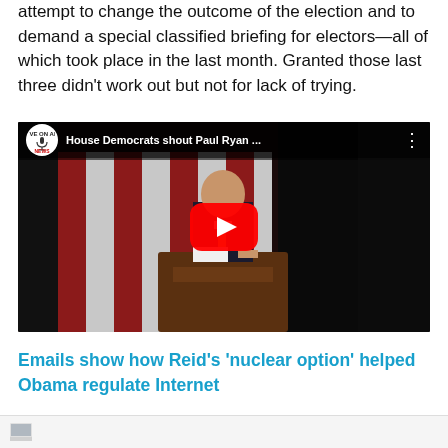attempt to change the outcome of the election and to demand a special classified briefing for electors—all of which took place in the last month. Granted those last three didn't work out but not for lack of trying.
[Figure (screenshot): YouTube video thumbnail showing 'House Democrats shout Paul Ryan ...' with a man in a suit standing at a congressional podium in front of a US flag background, with a red YouTube play button overlay and a LIVE ON AIR NEWS logo circle.]
Emails show how Reid's 'nuclear option' helped Obama regulate Internet
[Figure (screenshot): Bottom partial strip showing an article image thumbnail.]